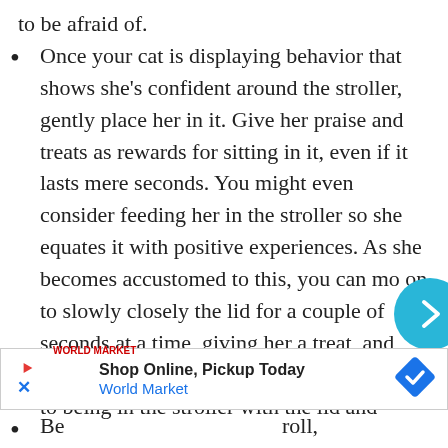to be afraid of.
Once your cat is displaying behavior that shows she's confident around the stroller, gently place her in it. Give her praise and treats as rewards for sitting in it, even if it lasts mere seconds. You might even consider feeding her in the stroller so she equates it with positive experiences. As she becomes accustomed to this, you can mo on to slowly closely the lid for a couple of seconds at a time, giving her a treat, and working your way towards getting her used to being in the stroller with the lid and m
[Figure (other): Advertisement banner: Shop Online, Pickup Today - World Market with play icon, close icon, and diamond navigation logo]
Be                                                    roll,